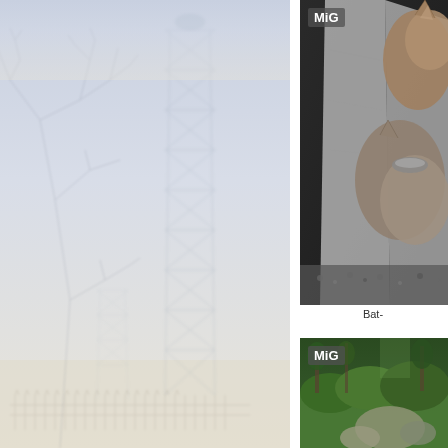[Figure (photo): Misty winter scene with bare trees and tall metal lattice/scaffold towers in fog, with iron fence at bottom, pale blue-grey sky]
[Figure (photo): Two bat-eared fox or similar animals curled up together against a large grey stone slab with a small metal dish visible, dark background. MiG watermark in top-left.]
Bat-
[Figure (photo): Green landscape with rocks, bushes and trees in lush vegetation. MiG watermark in top-left.]